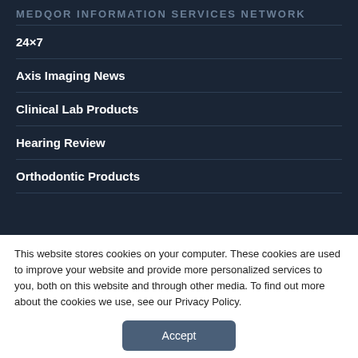MEDQOR INFORMATION SERVICES NETWORK
24×7
Axis Imaging News
Clinical Lab Products
Hearing Review
Orthodontic Products
This website stores cookies on your computer. These cookies are used to improve your website and provide more personalized services to you, both on this website and through other media. To find out more about the cookies we use, see our Privacy Policy.